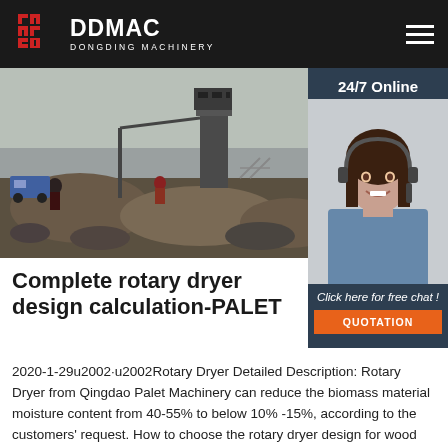DDMAC DONGDING MACHINERY
[Figure (photo): Construction site photo showing machinery, workers, and dirt mounds with industrial equipment in the background]
[Figure (photo): Customer support agent woman with headset smiling, with '24/7 Online' text above and 'Click here for free chat!' with QUOTATION button below]
Complete rotary dryer design calculation-PALET
2020-1-29u2002·u2002Rotary Dryer Detailed Description: Rotary Dryer from Qingdao Palet Machinery can reduce the biomass material moisture content from 40-55% to below 10% -15%, according to the customers' request. How to choose the rotary dryer design for wood chips? We have